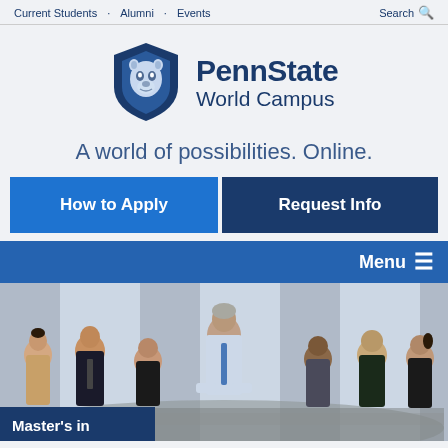Current Students · Alumni · Events · Search
[Figure (logo): Penn State World Campus logo with lion shield and text 'PennState World Campus']
A world of possibilities. Online.
How to Apply
Request Info
Menu ≡
[Figure (photo): Business professionals in a meeting around a glass table, man standing and leading the discussion]
Master's in